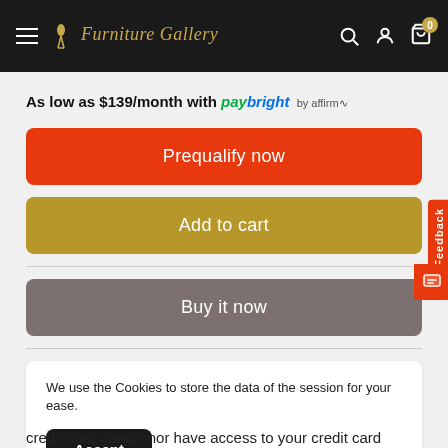Furniture Gallery
As low as $139/month with paybright by affirm
Prequalify now
Add to cart
Buy it now
We use the Cookies to store the data of the session for your ease.
Accept
credit card details nor have access to your credit card